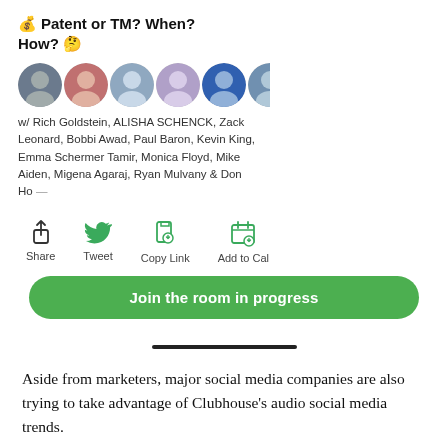💰 Patent or TM? When? How? 🤔
[Figure (photo): Row of circular avatar photos of speakers/participants in the Clubhouse room]
w/ Rich Goldstein, ALISHA SCHENCK, Zack Leonard, Bobbi Awad, Paul Baron, Kevin King, Emma Schermer Tamir, Monica Floyd, Mike Aiden, Migena Agaraj, Ryan Mulvany & Don Ho —
[Figure (infographic): Action icons row: Share, Tweet, Copy Link, Add to Cal]
Join the room in progress
Aside from marketers, major social media companies are also trying to take advantage of Clubhouse's audio social media trends.
Shortly after Facebook CEO Mark Zuckerberg spoke in a Clubhouse Room, the New York Times reported that his social media company was allegedly building a similar audio